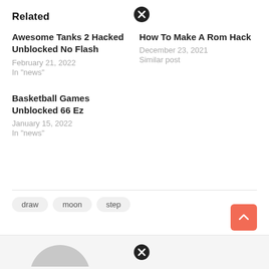Related
Awesome Tanks 2 Hacked Unblocked No Flash
February 21, 2022
In "news"
How To Make A Rom Hack
December 23, 2021
Similar post
Basketball Games Unblocked 66 Ez
January 15, 2022
In "news"
draw  moon  step